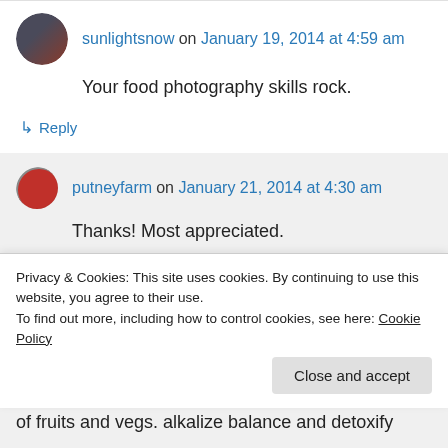[Figure (photo): User avatar for sunlightsnow - dark colored circular profile photo]
sunlightsnow on January 19, 2014 at 4:59 am
Your food photography skills rock.
↳ Reply
[Figure (photo): User avatar for putneyfarm - red circular profile photo]
putneyfarm on January 21, 2014 at 4:30 am
Thanks! Most appreciated.
↳ Reply
Privacy & Cookies: This site uses cookies. By continuing to use this website, you agree to their use.
To find out more, including how to control cookies, see here: Cookie Policy
Close and accept
of fruits and vegs. alkalize balance and detoxify